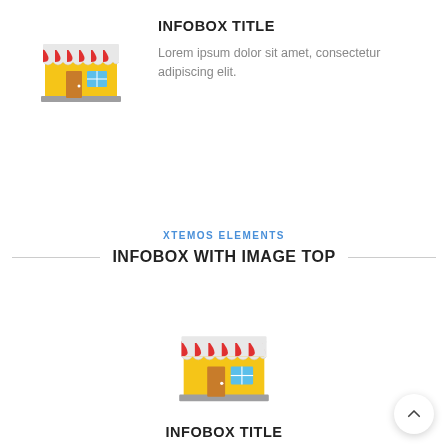[Figure (illustration): Flat illustration of a shop/store building with red and white striped awning, yellow walls, brown door, and blue window, positioned on the left side]
INFOBOX TITLE
Lorem ipsum dolor sit amet, consectetur adipiscing elit.
XTEMOS ELEMENTS
INFOBOX WITH IMAGE TOP
[Figure (illustration): Flat illustration of a shop/store building with red and white striped awning, yellow walls, brown door, and blue window, centered]
INFOBOX TITLE